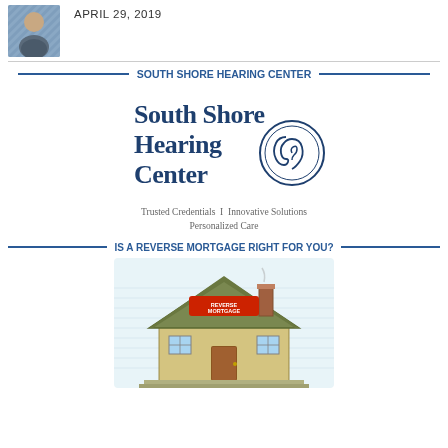[Figure (photo): Profile photo of a young man sitting casually]
APRIL 29, 2019
[Figure (logo): South Shore Hearing Center logo with ear graphic and tagline: Trusted Credentials | Innovative Solutions Personalized Care]
SOUTH SHORE HEARING CENTER
IS A REVERSE MORTGAGE RIGHT FOR YOU?
[Figure (illustration): Illustration of a house with a sign reading REVERSE MORTGAGE on the roof]